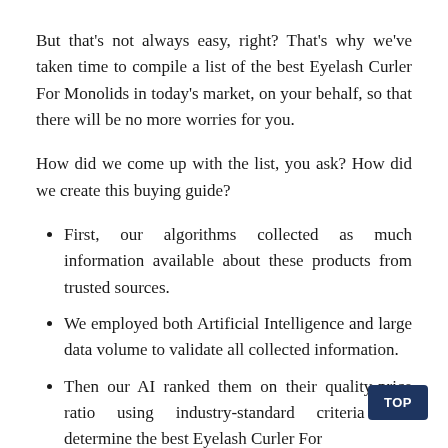But that's not always easy, right? That's why we've taken time to compile a list of the best Eyelash Curler For Monolids in today's market, on your behalf, so that there will be no more worries for you.
How did we come up with the list, you ask? How did we create this buying guide?
First, our algorithms collected as much information available about these products from trusted sources.
We employed both Artificial Intelligence and large data volume to validate all collected information.
Then our AI ranked them on their quality-price ratio using industry-standard criteria that determine the best Eyelash Curler For